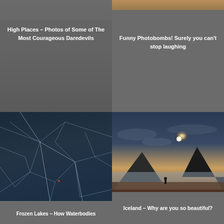[Figure (photo): Card with grey background and title overlay: High Places - Photos of Some of The Most Courageous Daredevils]
High Places – Photos of Some of The Most Courageous Daredevils
[Figure (photo): Card with partial photo at top and grey background with title: Funny Photobombs! Surely you can't stop laughing]
Funny Photobombs! Surely you can’t stop laughing
[Figure (photo): Frozen lake photo showing cracked ice patterns with a small figure, bottom title: Frozen Lakes – How Waterbodies]
Frozen Lakes – How Waterbodies
[Figure (photo): Iceland landscape at sunset with mountains, clouds and a silhouetted figure, title: Iceland – Why are you so beautiful?]
Iceland – Why are you so beautiful?